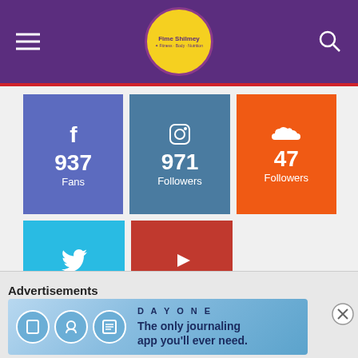[Figure (screenshot): Website header with purple background, hamburger menu, 'Fime Shilmey' logo in yellow circle, and search icon]
[Figure (infographic): Social Media Stats]
- Advertisement -
[Figure (other): Purple advertisement bar]
Advertisements
[Figure (other): Day One journaling app advertisement banner: 'The only journaling app you'll ever need.']